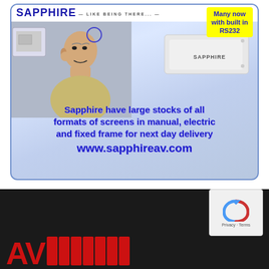[Figure (illustration): Sapphire AV advertisement showing a man thinking next to projection screens and a Sapphire branded device, with text about large stocks of screens for next day delivery and website URL www.sapphireav.com]
Sapphire have large stocks of all formats of screens in manual, electric and fixed frame for next day delivery www.sapphireav.com
[Figure (logo): AV Magazine logo in red on dark background with reCAPTCHA widget in bottom right corner showing Privacy and Terms text]